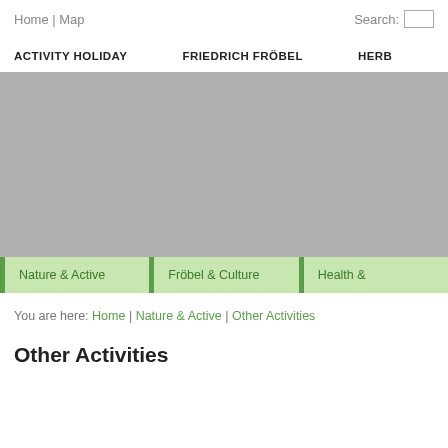Home | Map    Search:
ACTIVITY HOLIDAY    FRIEDRICH FRÖBEL    HERB...
[Figure (photo): Gray banner image placeholder spanning full width]
Nature & Active    Fröbel & Culture    Health &...
You are here: Home | Nature & Active | Other Activities
Other Activities